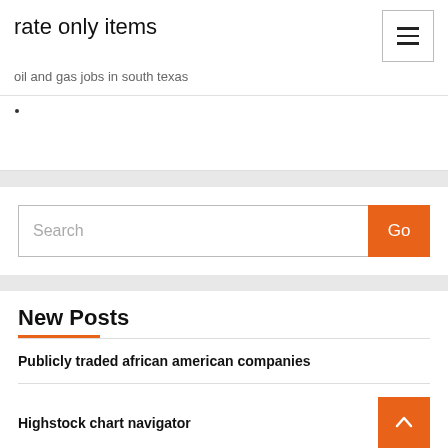rate only items
oil and gas jobs in south texas
Search
New Posts
Publicly traded african american companies
Highstock chart navigator
State bank share price history chart